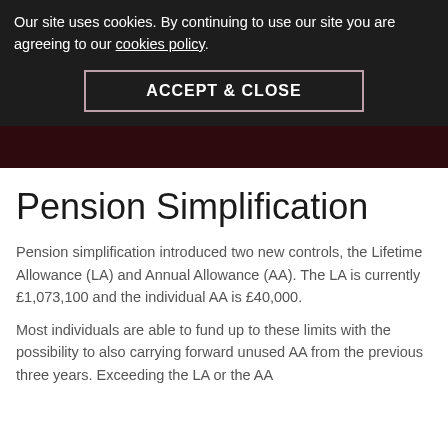berry wealth management
Our site uses cookies. By continuing to use our site you are agreeing to our cookies policy.
ACCEPT & CLOSE
Pension Simplification
Pension simplification introduced two new controls, the Lifetime Allowance (LA) and Annual Allowance (AA). The LA is currently £1,073,100 and the individual AA is £40,000.
Most individuals are able to fund up to these limits with the possibility to also carrying forward unused AA from the previous three years. Exceeding the LA or the AA